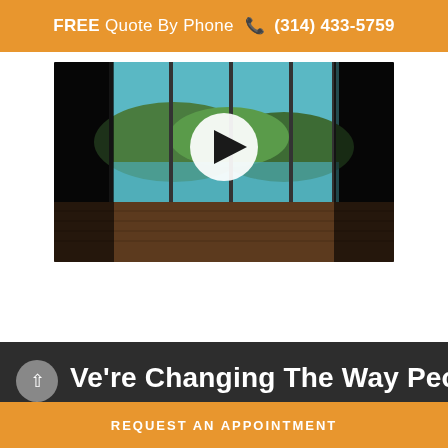FREE Quote By Phone 📞 (314) 433-5759
[Figure (screenshot): Video thumbnail showing an interior room with large panoramic windows overlooking a lake and mountains, wooden floor visible, with a play button overlay in the center]
[Figure (photo): Dark interior photo showing ceiling and cabinetry in a dimly lit room with dark tones]
We're Changing The Way People
REQUEST AN APPOINTMENT